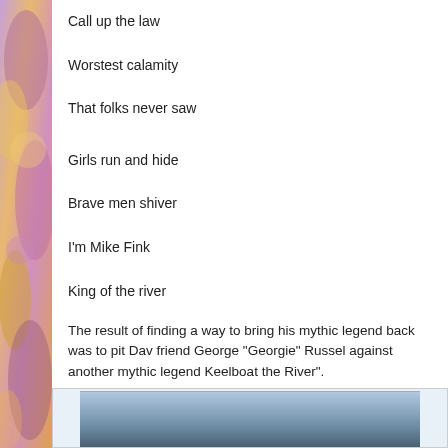[Figure (illustration): Decorative illustrated strip on the left side of the page with colorful watercolor-style artwork in purples, oranges, and pinks]
Call up the law
Worstest calamity
That folks never saw
Girls run and hide
Brave men shiver
I'm Mike Fink
King of the river
The result of finding a way to bring his mythic legend back was to pit Davy, friend George "Georgie" Russel against another mythic legend Keelboat the River".
On November 16, 1955 "Davy Crockett's Keelboat Race" premiered on Fink was actor Jeff York. York would also appear with Fess Parker in "Th "Westward Ho, the Wagons" and "Old Yeller". He also was in Walt Disney Tremain",
[Figure (photo): A photograph showing what appears to be a river or water scene, partially visible at the bottom of the page]